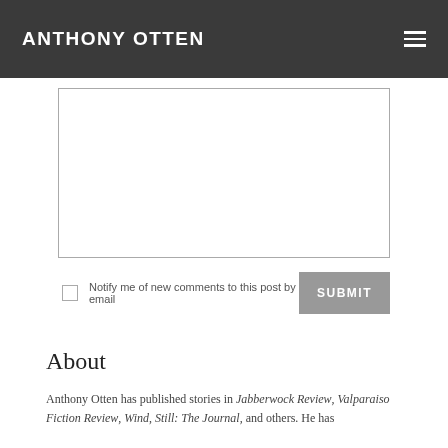ANTHONY OTTEN
[Figure (other): Empty text area input box with border]
Notify me of new comments to this post by email    SUBMIT
About
Anthony Otten has published stories in Jabberwock Review, Valparaiso Fiction Review, Wind, Still: The Journal, and others. He has